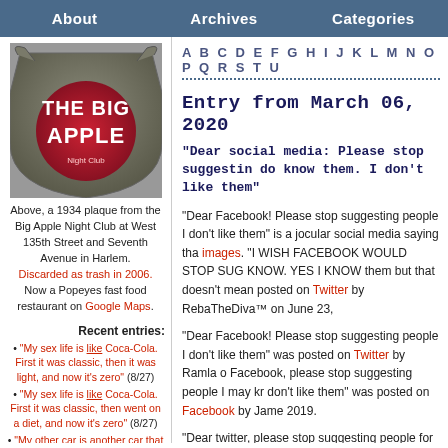About | Archives | Categories
[Figure (photo): 1934 plaque from the Big Apple Night Club]
Above, a 1934 plaque from the Big Apple Night Club at West 135th Street and Seventh Avenue in Harlem. Discarded as trash in 2006. Now a Popeyes fast food restaurant on Google Maps.
Recent entries:
"My sex life is like Coca-Cola. First it was classic, then it was light, and now it's zero" (8/27)
"My sex life is like Coca-Cola. First it was classic, then went on a diet, and now it's zero" (8/27)
"My other car is another car that has a sticker that says my other car is this car" (bumper
A B C D E F G H I J K L M N O P Q R S T U
Entry from March 06, 2020
“Dear social media: Please stop suggesting people I do know them. I don’t like them”
“Dear Facebook! Please stop suggesting people I don’t like them” is a jocular social media saying that images. “I WISH FACEBOOK WOULD STOP SUG KNOW. YES I KNOW them but that doesn’t mean posted on Twitter by RebaTheDiva™ on June 23,
“Dear Facebook! Please stop suggesting people I don’t like them” was posted on Twitter by Ramla o Facebook, please stop suggesting people I may kr don’t like them” was posted on Facebook by Jame 2019.
“Dear twitter, please stop suggesting people for m do not like them. sincerely me :(" was posted on T March 06, 2014. “Twitter, Please s